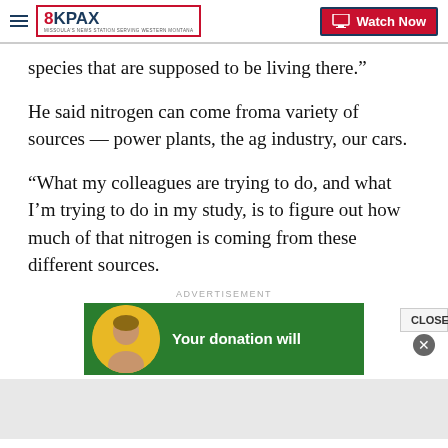8KPAX | Watch Now
species that are supposed to be living there.”
He said nitrogen can come froma variety of sources — power plants, the ag industry, our cars.
“What my colleagues are trying to do, and what I’m trying to do in my study, is to figure out how much of that nitrogen is coming from these different sources.
ADVERTISEMENT
[Figure (photo): Green advertisement banner with a child photo in a yellow circle and text 'Your donation will']
CLOSE ×